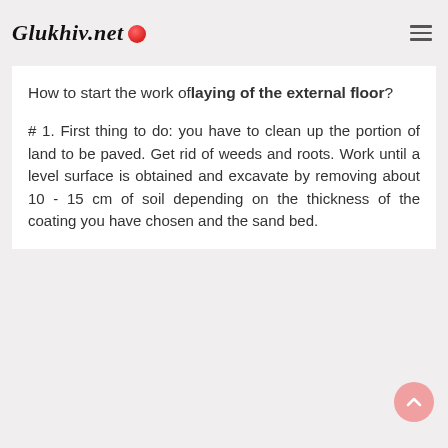Glukhiv.net
How to start the work of laying of the external floor?
# 1. First thing to do: you have to clean up the portion of land to be paved. Get rid of weeds and roots. Work until a level surface is obtained and excavate by removing about 10 - 15 cm of soil depending on the thickness of the coating you have chosen and the sand bed.